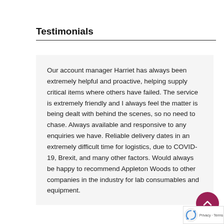Testimonials
Our account manager Harriet has always been extremely helpful and proactive, helping supply critical items where others have failed. The service is extremely friendly and I always feel the matter is being dealt with behind the scenes, so no need to chase. Always available and responsive to any enquiries we have. Reliable delivery dates in an extremely difficult time for logistics, due to COVID-19, Brexit, and many other factors. Would always be happy to recommend Appleton Woods to other companies in the industry for lab consumables and equipment.